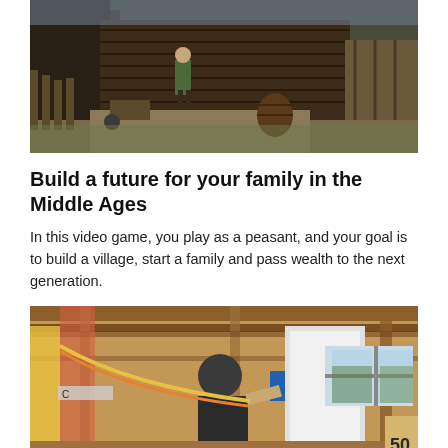[Figure (photo): Medieval village scene from a video game showing a peasant figure in green clothing walking through a wooden settlement with barrels, fences, and wooden structures in a dark, moody atmosphere.]
Build a future for your family in the Middle Ages
In this video game, you play as a peasant, and your goal is to build a village, start a family and pass wealth to the next generation.
[Figure (photo): A tattooed man working inside a house under construction, pulling electrical wiring through a wooden framed wall. Windows visible in background letting in natural light.]
Which home renovations require permits?